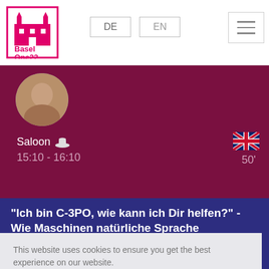[Figure (logo): Basel One 22 logo - pink/magenta building with text 'Basel One22' on white background]
DE   EN   ≡
[Figure (photo): Circular profile photo of a person]
Saloon 🤠   🇬🇧
15:10 - 16:10   50'
"Ich bin C-3PO, wie kann ich Dir helfen?" - Wie Maschinen natürliche Sprache verarbeiten
This website uses cookies to ensure you get the best experience on our website.
Learn more
Decline   Allow cookies
15:10 - 16:10   50'